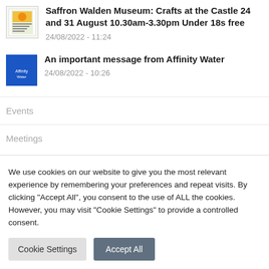Saffron Walden Museum: Crafts at the Castle 24 and 31 August 10.30am-3.30pm Under 18s free
24/08/2022 - 11:24
An important message from Affinity Water
24/08/2022 - 10:26
Events
Meetings
We use cookies on our website to give you the most relevant experience by remembering your preferences and repeat visits. By clicking "Accept All", you consent to the use of ALL the cookies. However, you may visit "Cookie Settings" to provide a controlled consent.